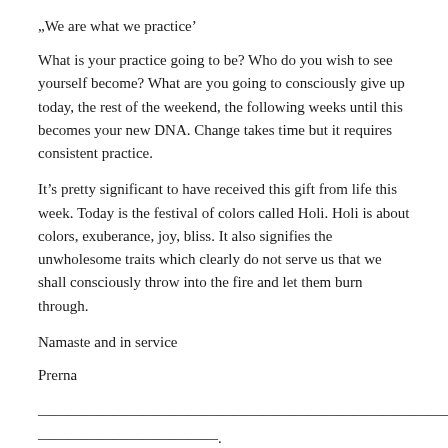„We are what we practice’
What is your practice going to be? Who do you wish to see yourself become? What are you going to consciously give up today, the rest of the weekend, the following weeks until this becomes your new DNA. Change takes time but it requires consistent practice.
It’s pretty significant to have received this gift from life this week. Today is the festival of colors called Holi. Holi is about colors, exuberance, joy, bliss. It also signifies the unwholesome traits which clearly do not serve us that we shall consciously throw into the fire and let them burn through.
Namaste and in service
Prerna
—————————————————————————————————————————————————————————.
AHA élmény ezen a héten
Kedves Olvasók, csodalatos Követőim,